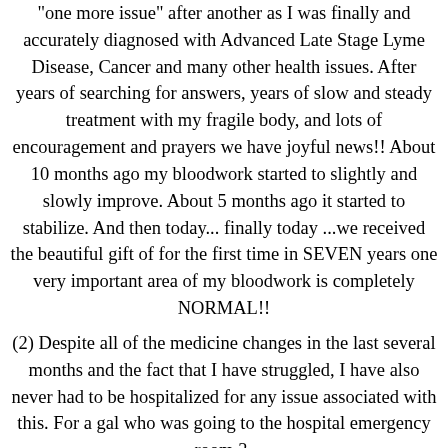"one more issue" after another as I was finally and accurately diagnosed with Advanced Late Stage Lyme Disease, Cancer and many other health issues. After years of searching for answers, years of slow and steady treatment with my fragile body, and lots of encouragement and prayers we have joyful news!! About 10 months ago my bloodwork started to slightly and slowly improve. About 5 months ago it started to stabilize. And then today... finally today ...we received the beautiful gift of for the first time in SEVEN years one very important area of my bloodwork is completely NORMAL!!
(2) Despite all of the medicine changes in the last several months and the fact that I have struggled, I have also never had to be hospitalized for any issue associated with this. For a gal who was going to the hospital emergency room 3-